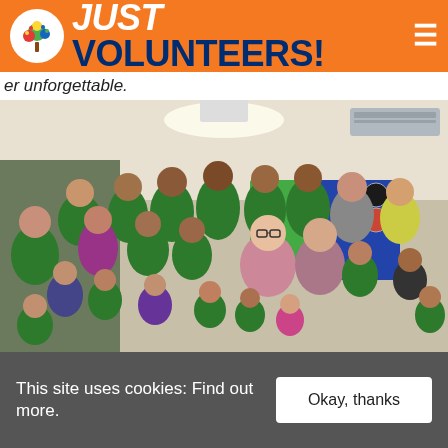JUST VOLUNTEERS!
er unforgettable.
[Figure (photo): Group photo of approximately 25 children and two adult volunteers in a classroom setting. Most children wear green polo shirts. Two adults (one with glasses wearing a floral dress, one in a gray top) pose with the children, many making peace signs.]
This site uses cookies: Find out more.
Okay, thanks